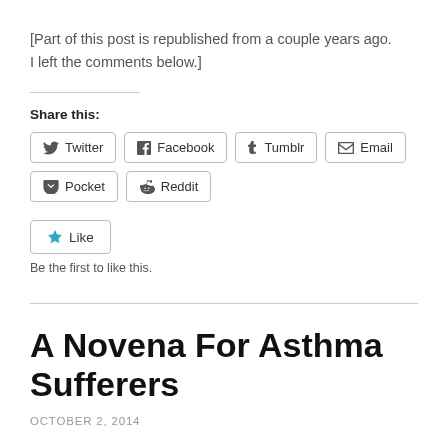[Part of this post is republished from a couple years ago. I left the comments below.]
Share this:
[Figure (other): Social sharing buttons: Twitter, Facebook, Tumblr, Email, Pocket, Reddit]
[Figure (other): Like button with star icon]
Be the first to like this.
A Novena For Asthma Sufferers
OCTOBER 2, 2014